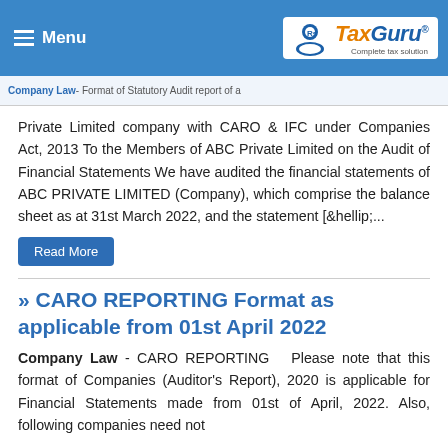Menu | TaxGuru - Complete Tax Solution
Company Law - Format of Statutory Audit report of a
Private Limited company with CARO & IFC under Companies Act, 2013 To the Members of ABC Private Limited on the Audit of Financial Statements We have audited the financial statements of ABC PRIVATE LIMITED (Company), which comprise the balance sheet as at 31st March 2022, and the statement [&hellip;...
Read More
» CARO REPORTING Format as applicable from 01st April 2022
Company Law - CARO REPORTING  Please note that this format of Companies (Auditor's Report), 2020 is applicable for Financial Statements made from 01st of April, 2022. Also, following companies need not